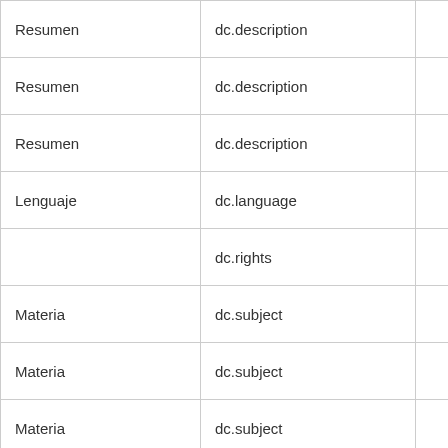|  | dc field | value |
| --- | --- | --- |
| Resumen | dc.description |  |
| Resumen | dc.description |  |
| Resumen | dc.description | INGEN... |
| Lenguaje | dc.language |  |
|  | dc.rights |  |
| Materia | dc.subject |  |
| Materia | dc.subject | GENE... |
| Materia | dc.subject |  |
| Materia | dc.subject |  |
| Materia | dc.subject |  |
| Materia | dc.subject |  |
| Title | dc.title | Utilización de colectores so... |
| Tipo | dc.type |  |